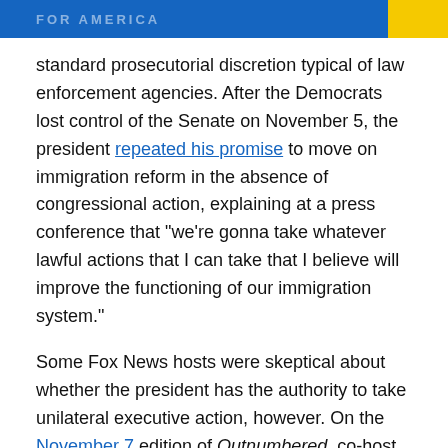FOR AMERICA
standard prosecutorial discretion typical of law enforcement agencies. After the Democrats lost control of the Senate on November 5, the president repeated his promise to move on immigration reform in the absence of congressional action, explaining at a press conference that “we’re gonna take whatever lawful actions that I can take that I believe will improve the functioning of our immigration system.”
Some Fox News hosts were skeptical about whether the president has the authority to take unilateral executive action, however. On the November 7 edition of Outnumbered, co-host Andrea Tantaros complained that Obama “doesn’t care about the constitution” and that he would “get away with” executive action on immigration because “some pointy-nosed Harvard lawyers [will argue] whether or not this is constitutional.”